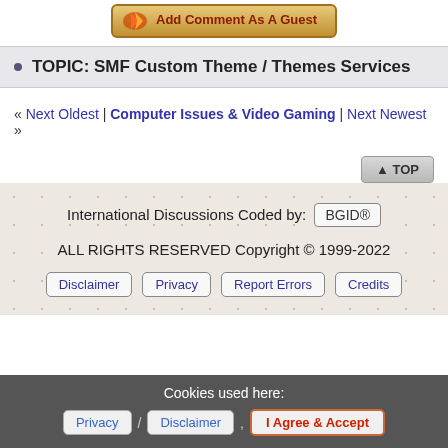[Figure (other): Add Comment As A Guest button with flame/rocket icon]
TOPIC: SMF Custom Theme / Themes Services
« Next Oldest | Computer Issues & Video Gaming | Next Newest »
▲ TOP
International Discussions Coded by: BGID®
ALL RIGHTS RESERVED Copyright © 1999-2022
Disclaimer  Privacy  Report Errors  Credits
Cookies used here:
Privacy / Disclaimer , I Agree & Accept